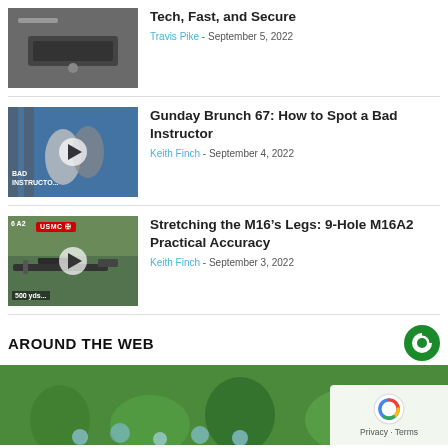[Figure (photo): Thumbnail of tech device on wooden surface]
Tech, Fast, and Secure
Travis Pike - September 5, 2022
[Figure (photo): Video thumbnail showing martial arts / bad instructor scene with play button, labeled BAD INSTRUCTOR]
Gunday Brunch 67: How to Spot a Bad Instructor
Keith Finch - September 4, 2022
[Figure (photo): Video thumbnail of M16A2 rifle with USMC badge, labeled 6 A2 USMC and 500 yds]
Stretching the M16’s Legs: 9-Hole M16A2 Practical Accuracy
Keith Finch - September 3, 2022
AROUND THE WEB
[Figure (photo): Nature/green blurred background image]
[Figure (logo): Taboola/around-the-web logo — dark green and white circular logo]
[Figure (logo): Google reCAPTCHA / Privacy overlay with blue G logo, Privacy and Terms text]